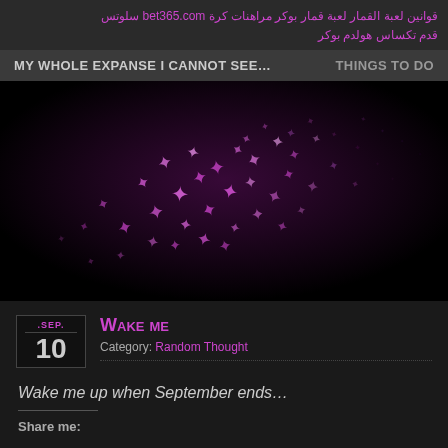قوانين لعبة القمار لعبة قمار بوكر مراهنات كرة bet365.com سلوتس قدم تكساس هولدم بوكر
MY WHOLE EXPANSE I CANNOT SEE…
THINGS TO DO
[Figure (photo): Dark background with glowing purple/pink star-shaped particles forming a swirling cluster pattern]
WAKE ME
Category: Random Thought
Wake me up when September ends…
Share me: